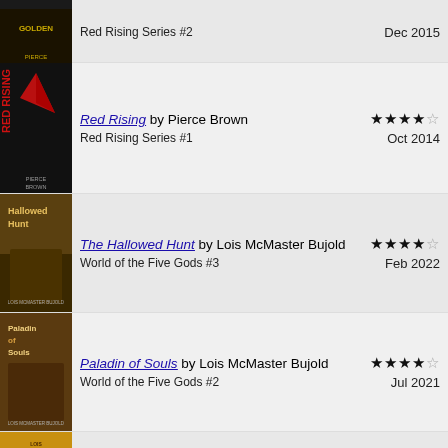Red Rising Series #2 — Dec 2015
Red Rising by Pierce Brown — Red Rising Series #1 — ★★★★☆ — Oct 2014
The Hallowed Hunt by Lois McMaster Bujold — World of the Five Gods #3 — ★★★★☆ — Feb 2022
Paladin of Souls by Lois McMaster Bujold — World of the Five Gods #2 — ★★★★☆ — Jul 2021
The Curse of Chalion by Lois McMaster Bujold — World of the Five Gods #1 — ★★★★☆ — Jan 2014